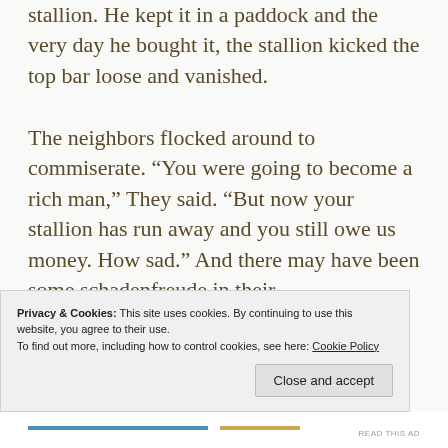stallion. He kept it in a paddock and the very day he bought it, the stallion kicked the top bar loose and vanished.
The neighbors flocked around to commiserate. “You were going to become a rich man,” They said. “But now your stallion has run away and you still owe us money. How sad.” And there may have been some schadenfreude in their
Privacy & Cookies: This site uses cookies. By continuing to use this website, you agree to their use. To find out more, including how to control cookies, see here: Cookie Policy
Close and accept